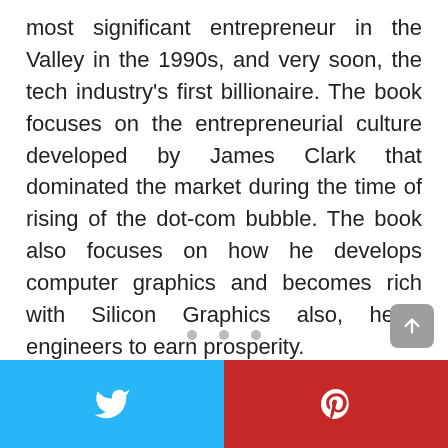most significant entrepreneur in the Valley in the 1990s, and very soon, the tech industry's first billionaire. The book focuses on the entrepreneurial culture developed by James Clark that dominated the market during the time of rising of the dot-com bubble. The book also focuses on how he develops computer graphics and becomes rich with Silicon Graphics also, helps engineers to earn prosperity.
Buy or learn more